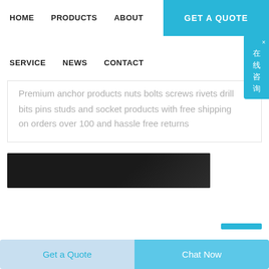HOME   PRODUCTS   ABOUT   GET A QUOTE
SERVICE   NEWS   CONTACT
Premium anchor products nuts bolts screws rivets drill bits pins studs and socket products with free shipping on orders over 100 and hassle free returns
[Figure (photo): Dark textured background image strip, partially visible at bottom of page]
Get a Quote   Chat Now